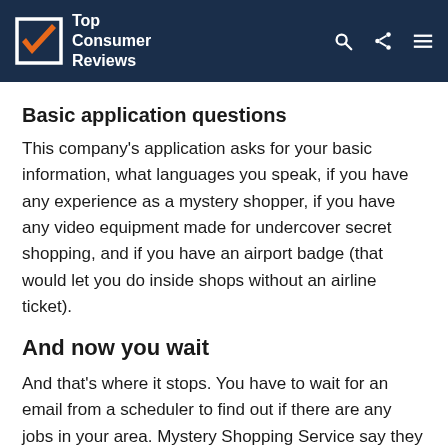Top Consumer Reviews
Basic application questions
This company's application asks for your basic information, what languages you speak, if you have any experience as a mystery shopper, if you have any video equipment made for undercover secret shopping, and if you have an airport badge (that would let you do inside shops without an airline ticket).
And now you wait
And that's where it stops. You have to wait for an email from a scheduler to find out if there are any jobs in your area. Mystery Shopping Service say they get a high volume of applications every day you might not want to hold your breath waiting for